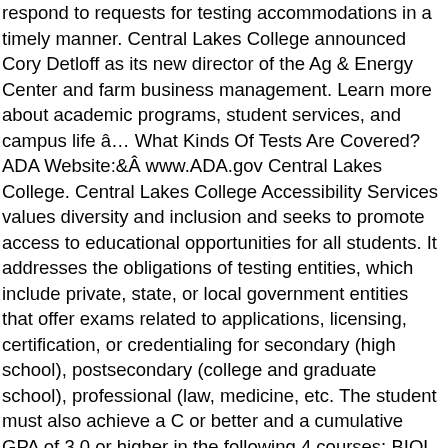respond to requests for testing accommodations in a timely manner. Central Lakes College announced Cory Detloff as its new director of the Ag & Energy Center and farm business management. Learn more about academic programs, student services, and campus life â¦ What Kinds Of Tests Are Covered? ADA Website:Â www.ADA.gov Central Lakes College. Central Lakes College Accessibility Services values diversity and inclusion and seeks to promote access to educational opportunities for all students. It addresses the obligations of testing entities, which include private, state, or local government entities that offer exams related to applications, licensing, certification, or credentialing for secondary (high school), postsecondary (college and graduate school), professional (law, medicine, etc. The student must also achieve a C or better and a cumulative GPA of 3.0 or higher in the following 4 courses: BIOL 2467, CHEM 1407, ENGL 1411, and PSYC 2421. Assessibility Services cultivates a community that embraces, encourages, and empowers students with a disability to access equitable and inclusive accommodations. This publication provides technical assistance on testing accommodations for individuals with disabilities who take standardized exams and other high-stakes tests. 501 West College Dr. Brainerd, MN 56401. Our staff and faculty are what give CLC that special sauce... that unique flavor.